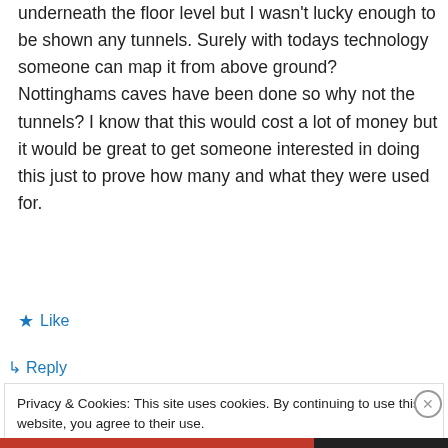underneath the floor level but I wasn't lucky enough to be shown any tunnels. Surely with todays technology someone can map it from above ground? Nottinghams caves have been done so why not the tunnels? I know that this would cost a lot of money but it would be great to get someone interested in doing this just to prove how many and what they were used for.
★ Like
↳ Reply
Privacy & Cookies: This site uses cookies. By continuing to use this website, you agree to their use.
To find out more, including how to control cookies, see here: Cookie Policy
Close and accept